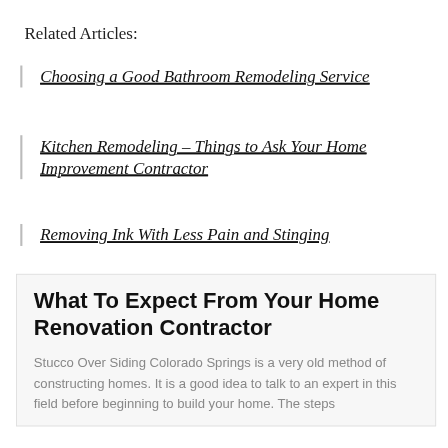Related Articles:
Choosing a Good Bathroom Remodeling Service
Kitchen Remodeling – Things to Ask Your Home Improvement Contractor
Removing Ink With Less Pain and Stinging
What To Expect From Your Home Renovation Contractor
Stucco Over Siding Colorado Springs is a very old method of constructing homes. It is a good idea to talk to an expert in this field before beginning to build your home. The steps